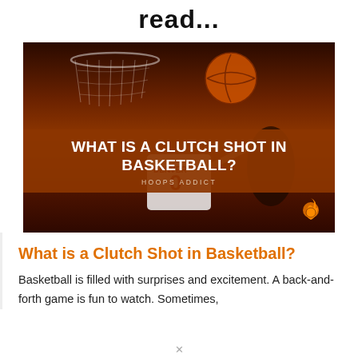read...
[Figure (photo): Basketball court scene with hoop and net at top, player wearing Denver #0 jersey at bottom, dark reddish-brown toned photo. Overlaid title band reads 'WHAT IS A CLUTCH SHOT IN BASKETBALL?' with subtitle 'HOOPS ADDICT'. Orange basketball flame logo at bottom right.]
What is a Clutch Shot in Basketball?
Basketball is filled with surprises and excitement. A back-and-forth game is fun to watch. Sometimes,